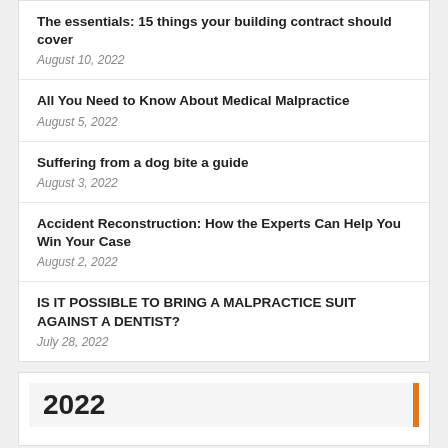The essentials: 15 things your building contract should cover
August 10, 2022
All You Need to Know About Medical Malpractice
August 5, 2022
Suffering from a dog bite a guide
August 3, 2022
Accident Reconstruction: How the Experts Can Help You Win Your Case
August 2, 2022
IS IT POSSIBLE TO BRING A MALPRACTICE SUIT AGAINST A DENTIST?
July 28, 2022
2022